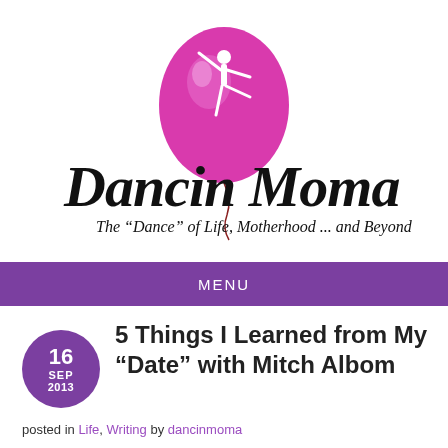[Figure (logo): DancinMoma blog logo featuring a pink/magenta balloon with a white ballerina silhouette on it, and cursive black text 'DancinMoma' with tagline 'The "Dance" of Life, Motherhood ... and Beyond']
MENU
16 SEP 2013
5 Things I Learned from My “Date” with Mitch Albom
posted in Life, Writing by dancinmoma